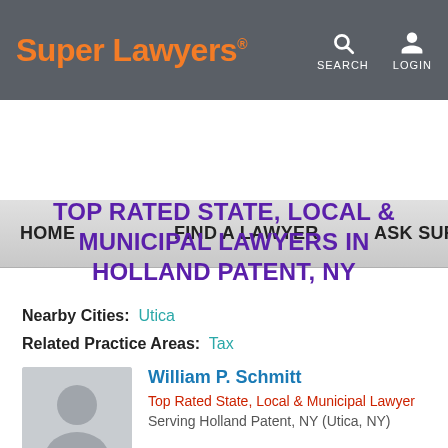Super Lawyers | SEARCH | LOGIN | HOME | FIND A LAWYER | ASK SUPER L
TOP RATED STATE, LOCAL & MUNICIPAL LAWYERS IN HOLLAND PATENT, NY
Nearby Cities: Utica
Related Practice Areas: Tax
William P. Schmitt
Top Rated State, Local & Municipal Lawyer
Serving Holland Patent, NY (Utica, NY)